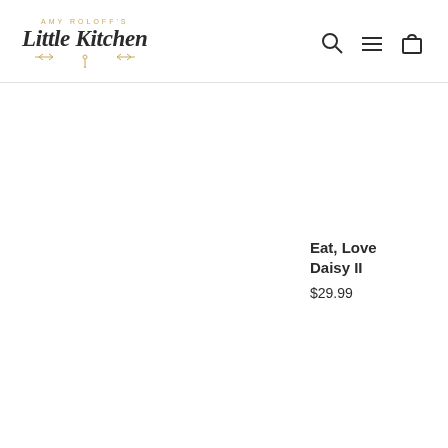[Figure (logo): Amy Roloff's Little Kitchen logo with script text and decorative elements]
[Figure (other): Navigation icons: search (magnifying glass), menu (hamburger lines), cart (shopping bag)]
Eat, Love Daisy II
$29.99